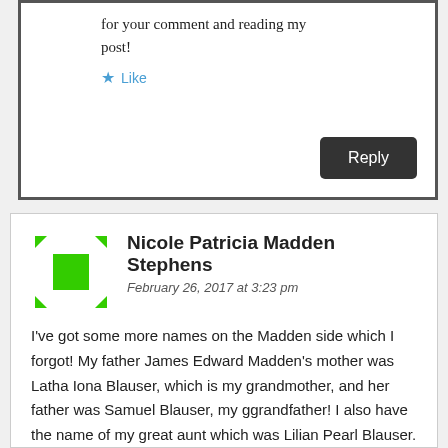for your comment and reading my post!
Like
Reply
Nicole Patricia Madden Stephens
February 26, 2017 at 3:23 pm
I've got some more names on the Madden side which I forgot! My father James Edward Madden's mother was Latha Iona Blauser, which is my grandmother, and her father was Samuel Blauser, my ggrandfather! I also have the name of my great aunt which was Lilian Pearl Blauser. I do not have the dates
[Figure (illustration): Green geometric avatar icon with diamond/square pattern in green and white]